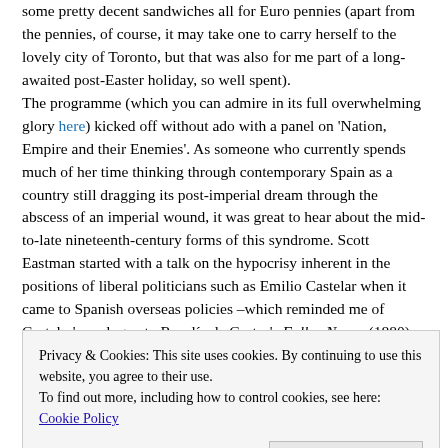some pretty decent sandwiches all for Euro pennies (apart from the pennies, of course, it may take one to carry herself to the lovely city of Toronto, but that was also for me part of a long-awaited post-Easter holiday, so well spent). The programme (which you can admire in its full overwhelming glory here) kicked off without ado with a panel on 'Nation, Empire and their Enemies'. As someone who currently spends much of her time thinking through contemporary Spain as a country still dragging its post-imperial dream through the abscess of an imperial wound, it was great to hear about the mid-to-late nineteenth-century forms of this syndrome. Scott Eastman started with a talk on the hypocrisy inherent in the positions of liberal politicians such as Emilio Castelar when it came to Spanish overseas policies –which reminded me of Castelar's prologue to Rosalía de Castro's Follas Novas (1880), an equally ambivalent text with regard to Spain's internal colonies; Shasha D. Pack's followed with a paper on the Spanish persecution of Moroccan Jews during the Spanish-Moroccan War (1859–60) in order to gain favour with Muslim officials, reminding us of the persistently fraught space that the Spanish-Moroccan border is still today as the
Privacy & Cookies: This site uses cookies. By continuing to use this website, you agree to their use. To find out more, including how to control cookies, see here: Cookie Policy
practice known as the Monita Secreta, specifically to serve the anti-clerical